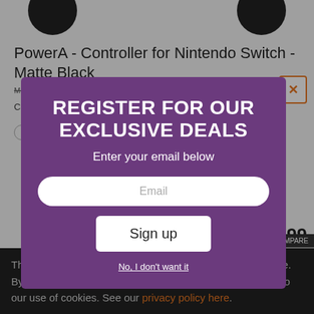[Figure (screenshot): Top portion of a retail product page showing two dark circular controller images at the top]
PowerA - Controller for Nintendo Switch - Matte Black
Model: 1511370-01   UPC: 617885020254
Compatible with Nintendo Switch and is rechargeable
VIEW DEALS
[Figure (screenshot): Email registration modal overlay with purple background. Title: REGISTER FOR OUR EXCLUSIVE DEALS. Subtitle: Enter your email below. Email input field. Sign up button. No, I don't want it link.]
REGISTER FOR OUR EXCLUSIVE DEALS
Enter your email below
Email
Sign up
No, I don't want it
$16.99
$22.99
You save $6.00
This site uses cookies to enhance your web site experience. By continuing to browse or use this site, you are agreeing to our use of cookies. See our privacy policy here.